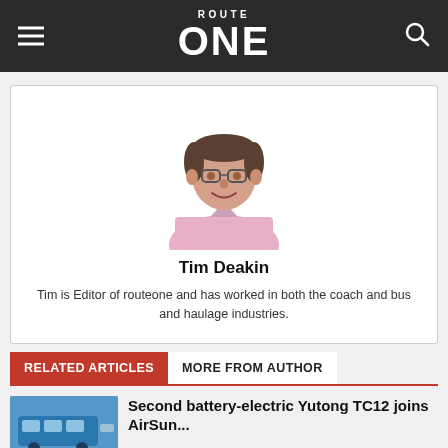ROUTE ONE
[Figure (photo): Photo of Tim Deakin, editor of routeone, a middle-aged man wearing glasses and a pink shirt]
Tim Deakin
Tim is Editor of routeone and has worked in both the coach and bus and haulage industries.
RELATED ARTICLES   MORE FROM AUTHOR
Second battery-electric Yutong TC12 joins AirSun...